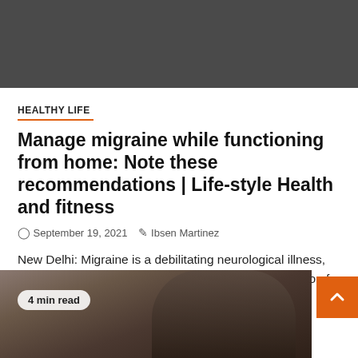[Figure (photo): Dark gray banner/hero image area at top of article page]
HEALTHY LIFE
Manage migraine while functioning from home: Note these recommendations | Life-style Health and fitness
September 19, 2021   Ibsen Martinez
New Delhi: Migraine is a debilitating neurological illness, rating persistently amongst the top 10 primary leads to of yrs lived...
[Figure (photo): Photo of a woman with braids working from home, partially visible at bottom of page. Badge reads '4 min read']